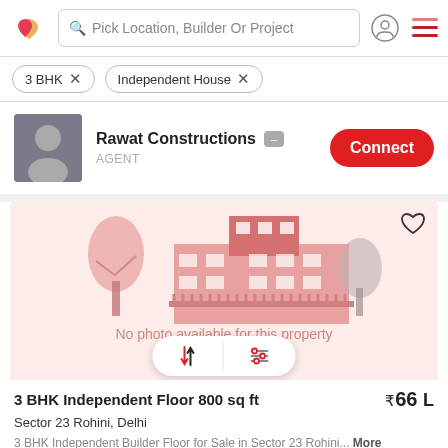Pick Location, Builder Or Project
3 BHK
Independent House
Rawat Constructions
AGENT
Connect
[Figure (illustration): Real estate listing placeholder image showing a cartoon house illustration with trees in pink/red tones. Text reads 'No photo available for this property' with a 'Re...' reload button and sort/filter pill icons.]
3 BHK Independent Floor 800 sq ft
Sector 23 Rohini, Delhi
3 BHK Independent Builder Floor for Sale in Sector 23 Rohini... More
₹66 L